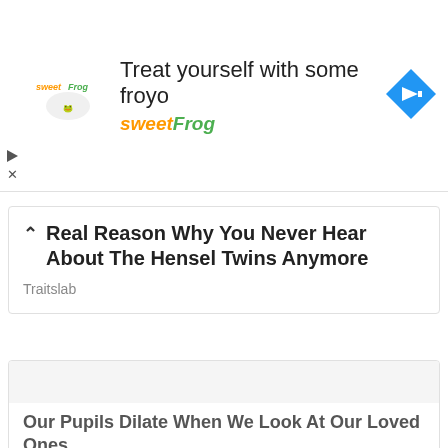[Figure (screenshot): SweetFrog frozen yogurt advertisement banner with logo, text 'Treat yourself with some froyo' and 'sweetFrog', and a blue navigation arrow icon]
Real Reason Why You Never Hear About The Hensel Twins Anymore
Traitslab
[Figure (photo): Blank/loading image placeholder for article about pupil dilation]
Our Pupils Dilate When We Look At Our Loved Ones